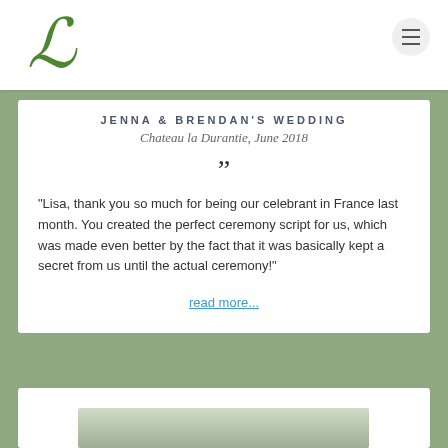Logo: decorative cursive L
Jenna & Brendan's Wedding
Chateau la Durantie, June 2018
"Lisa, thank you so much for being our celebrant in France last month. You created the perfect ceremony script for us, which was made even better by the fact that it was basically kept a secret from us until the actual ceremony!"
read more...